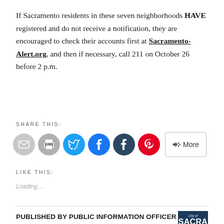If Sacramento residents in these seven neighborhoods HAVE registered and do not receive a notification, they are encouraged to check their accounts first at Sacramento-Alert.org, and then if necessary, call 211 on October 26 before 2 p.m.
SHARE THIS:
[Figure (infographic): Share buttons row: email (gray circle), print (gray circle), Twitter (blue circle), Facebook (blue circle), Tumblr (dark blue circle), Pinterest (red circle), and a More button with share icon]
LIKE THIS:
Loading...
PUBLISHED BY PUBLIC INFORMATION OFFICER